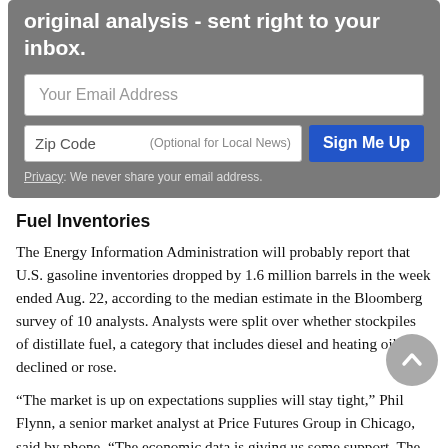[Figure (other): Email signup form with gray background, email address input field, zip code input field, Sign Me Up button, and privacy note.]
Fuel Inventories
The Energy Information Administration will probably report that U.S. gasoline inventories dropped by 1.6 million barrels in the week ended Aug. 22, according to the median estimate in the Bloomberg survey of 10 analysts. Analysts were split over whether stockpiles of distillate fuel, a category that includes diesel and heating oil, declined or rose.
“The market is up on expectations supplies will stay tight,” Phil Flynn, a senior market analyst at Price Futures Group in Chicago, said by phone. “The economic data is giving us some support. The durable goods number increases demand